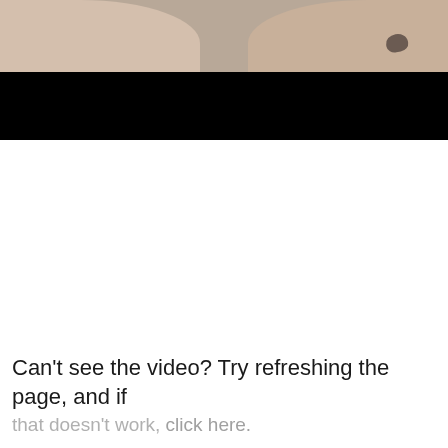[Figure (photo): Partial view of hands with a dark background visible below, appears to be a video thumbnail or screenshot showing hands and a black video player bar]
Can't see the video? Try refreshing the page, and if that doesn't work, click here.